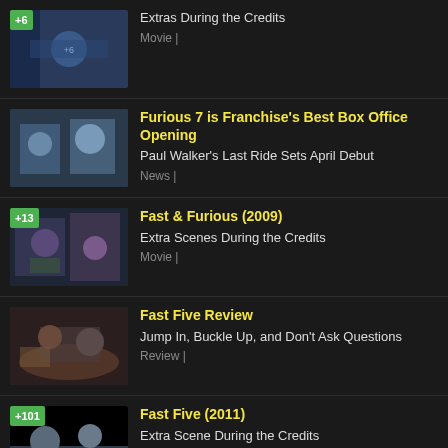Extras During the Credits
Movie |
Furious 7 is Franchise's Best Box Office Opening
Paul Walker's Last Ride Sets April Debut
News |
Fast & Furious (2009)
Extra Scenes During the Credits
Movie |
Fast Five Review
Jump In, Buckle Up, and Don't Ask Questions
Review |
Fast Five (2011)
Extra Scene During the Credits
Movie |